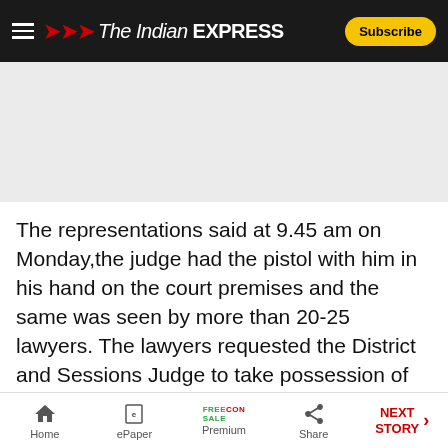The Indian EXPRESS — Subscribe
[Figure (other): Advertisement banner area (gray placeholder)]
The representations said at 9.45 am on Monday,the judge had the pistol with him in his hand on the court premises and the same was seen by more than 20-25 lawyers. The lawyers requested the District and Sessions Judge to take possession of the weapon,as due to the boycott of his (Parinder Singh   s) court,the members of the DBA feared that he might misuse the same.
Home | ePaper | Premium | Share | NEXT STORY